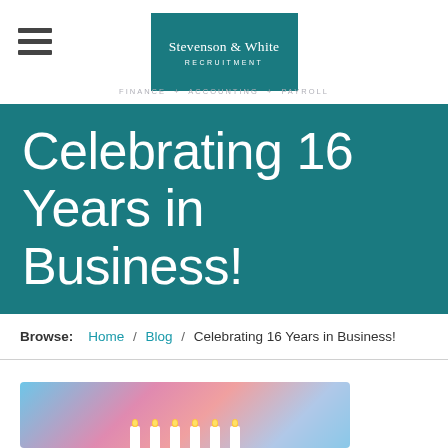[Figure (logo): Stevenson & White Recruitment logo in teal box with tagline FINANCE + ACCOUNTING + PAYROLL]
Celebrating 16 Years in Business!
Browse: Home / Blog / Celebrating 16 Years in Business!
[Figure (photo): Photo of colorful balloons with candles at the bottom, celebrating 16 years in business]